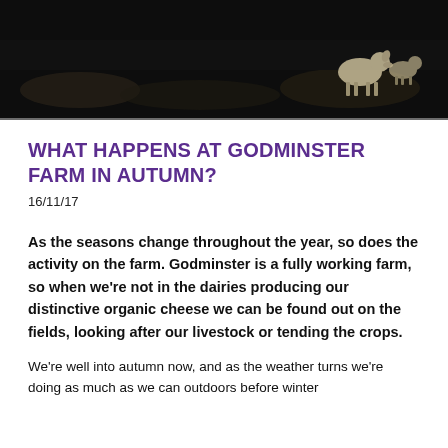[Figure (photo): Dark atmospheric farm photo showing silhouettes of sheep or animals in a shadowy landscape, top portion of page]
WHAT HAPPENS AT GODMINSTER FARM IN AUTUMN?
16/11/17
As the seasons change throughout the year, so does the activity on the farm. Godminster is a fully working farm, so when we're not in the dairies producing our distinctive organic cheese we can be found out on the fields, looking after our livestock or tending the crops.
We're well into autumn now, and as the weather turns we're doing as much as we can outdoors before winter